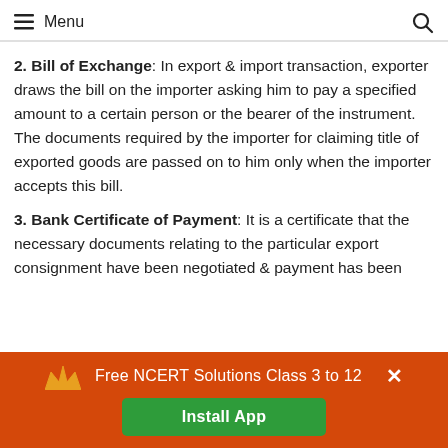Menu
2. Bill of Exchange: In export & import transaction, exporter draws the bill on the importer asking him to pay a specified amount to a certain person or the bearer of the instrument. The documents required by the importer for claiming title of exported goods are passed on to him only when the importer accepts this bill.
3. Bank Certificate of Payment: It is a certificate that the necessary documents relating to the particular export consignment have been negotiated & payment has been
Free NCERT Solutions Class 3 to 12
Install App